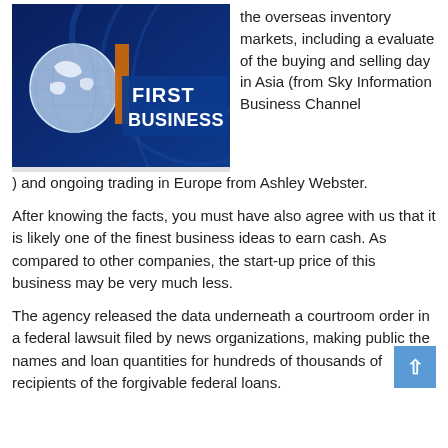[Figure (screenshot): First Business news logo with globe graphic on dark blue background]
the overseas inventory markets, including a evaluate of the buying and selling day in Asia (from Sky Information Business Channel ) and ongoing trading in Europe from Ashley Webster.
After knowing the facts, you must have also agree with us that it is likely one of the finest business ideas to earn cash. As compared to other companies, the start-up price of this business may be very much less.
The agency released the data underneath a courtroom order in a federal lawsuit filed by news organizations, making public the names and loan quantities for hundreds of thousands of recipients of the forgivable federal loans.